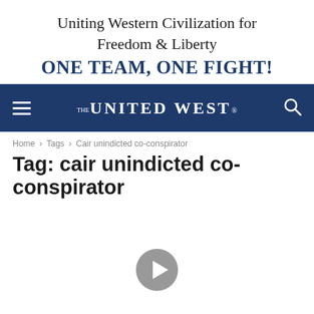Uniting Western Civilization for Freedom & Liberty
ONE TEAM, ONE FIGHT!
[Figure (screenshot): The United West navigation bar with hamburger menu, logo, and search icon on dark blue background]
Home › Tags › Cair unindicted co-conspirator
Tag: cair unindicted co-conspirator
[Figure (other): Gray circular play button icon]